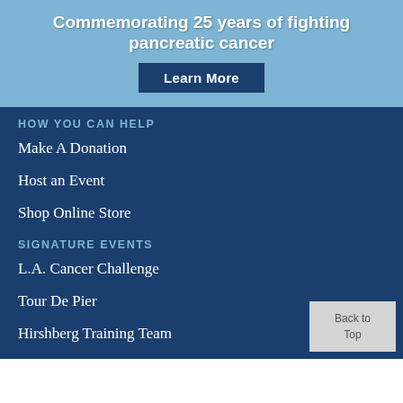Commemorating 25 years of fighting pancreatic cancer
Learn More
HOW YOU CAN HELP
Make A Donation
Host an Event
Shop Online Store
SIGNATURE EVENTS
L.A. Cancer Challenge
Tour De Pier
Hirshberg Training Team
MORE
News
Back to Top